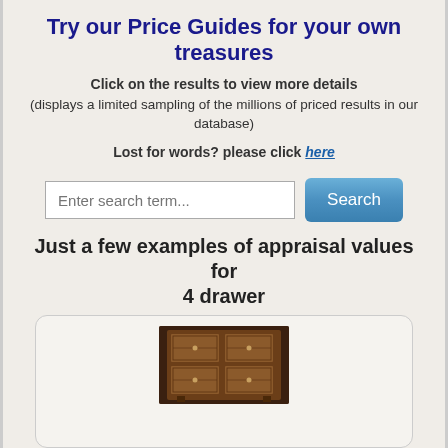Try our Price Guides for your own treasures
Click on the results to view more details
(displays a limited sampling of the millions of priced results in our database)
Lost for words? please click here
Enter search term... [Search button]
Just a few examples of appraisal values for
4 drawer
[Figure (photo): Photo of an antique 4-drawer chest/cabinet with ornate wood detailing]